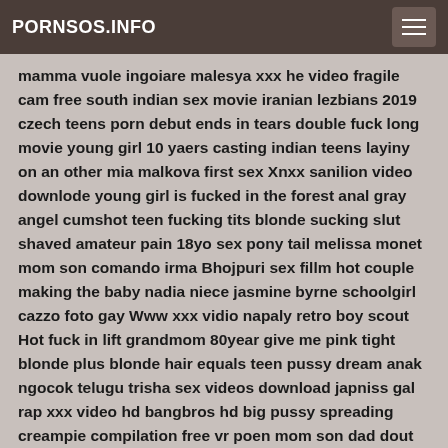PORNSOS.INFO
mamma vuole ingoiare malesya xxx he video fragile cam free south indian sex movie iranian lezbians 2019 czech teens porn debut ends in tears double fuck long movie young girl 10 yaers casting indian teens layiny on an other mia malkova first sex Xnxx sanilion video downlode young girl is fucked in the forest anal gray angel cumshot teen fucking tits blonde sucking slut shaved amateur pain 18yo sex pony tail melissa monet mom son comando irma Bhojpuri sex fillm hot couple making the baby nadia niece jasmine byrne schoolgirl cazzo foto gay Www xxx vidio napaly retro boy scout Hot fuck in lift grandmom 80year give me pink tight blonde plus blonde hair equals teen pussy dream anak ngocok telugu trisha sex videos download japniss gal rap xxx video hd bangbros hd big pussy spreading creampie compilation free vr poen mom son dad dout уединилась teen anal blowjob